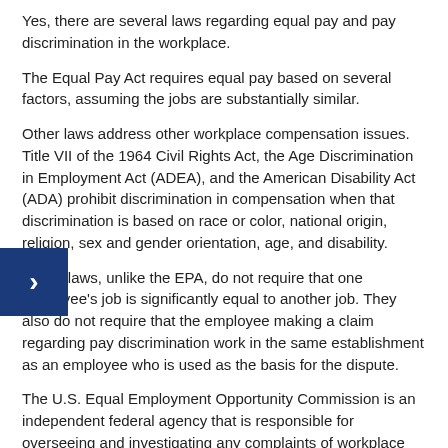Yes, there are several laws regarding equal pay and pay discrimination in the workplace.
The Equal Pay Act requires equal pay based on several factors, assuming the jobs are substantially similar.
Other laws address other workplace compensation issues. Title VII of the 1964 Civil Rights Act, the Age Discrimination in Employment Act (ADEA), and the American Disability Act (ADA) prohibit discrimination in compensation when that discrimination is based on race or color, national origin, religion, sex and gender orientation, age, and disability.
These laws, unlike the EPA, do not require that one employee's job is significantly equal to another job. They also do not require that the employee making a claim regarding pay discrimination work in the same establishment as an employee who is used as the basis for the dispute.
The U.S. Equal Employment Opportunity Commission is an independent federal agency that is responsible for overseeing and investigating any complaints of workplace discrimination, including unfair pay. While we often associate unfair pay as a gender imbalance, other reasons for unfair pay